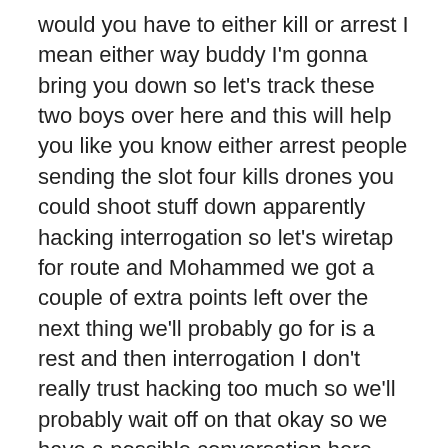would you have to either kill or arrest I mean either way buddy I'm gonna bring you down so let's track these two boys over here and this will help you like you know either arrest people sending the slot four kills drones you could shoot stuff down apparently hacking interrogation so let's wiretap for route and Mohammed we got a couple of extra points left over the next thing we'll probably go for is a rest and then interrogation I don't really trust hacking too much so we'll probably wait off on that okay so we have a possible conversation here suspicious behavior recurrent hate speech and local social media reported to the police McHale Dino Angelo Oh hate speech on social media.
I've never heard that before money transfer okay so I was right about this this is the Finance Manager more than likely he apparently sent a hundred or eleven hundred thousand to a discussion Club in